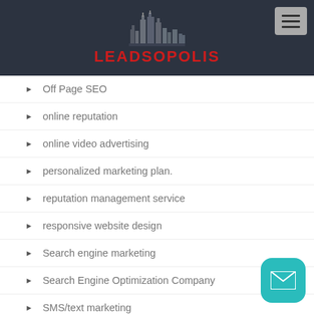[Figure (logo): Leadsopolis logo with city skyline icon and red brand name text on dark background]
Off Page SEO
online reputation
online video advertising
personalized marketing plan.
reputation management service
responsive website design
Search engine marketing
Search Engine Optimization Company
SMS/text marketing
SMS/text marketing strategy